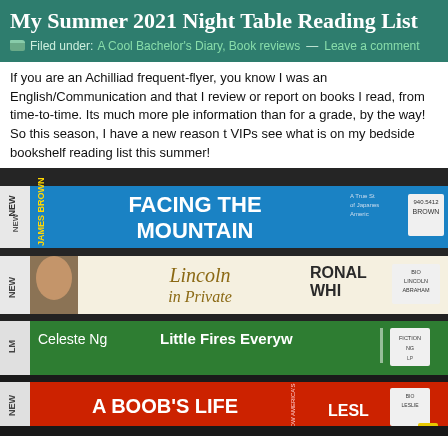My Summer 2021 Night Table Reading List
Filed under: A Cool Bachelor's Diary, Book reviews — Leave a comment
If you are an Achilliad frequent-flyer, you know I was an English/Communication and that I review or report on books I read, from time-to-time. Its much more ple information than for a grade, by the way! So this season, I have a new reason t VIPs see what is on my bedside bookshelf reading list this summer!
[Figure (photo): Photo of four library books stacked on a shelf, spines visible: 'Facing the Mountain' by James Brown, 'Lincoln in Private' by Ronald White, 'Little Fires Everywhere' by Celeste Ng, and 'A Boob's Life' by Leslie. Books have library stickers and call numbers visible.]